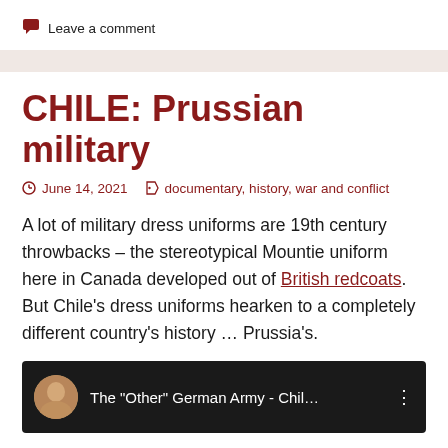Leave a comment
CHILE: Prussian military
June 14, 2021   documentary, history, war and conflict
A lot of military dress uniforms are 19th century throwbacks – the stereotypical Mountie uniform here in Canada developed out of British redcoats. But Chile's dress uniforms hearken to a completely different country's history … Prussia's.
[Figure (screenshot): Video thumbnail showing 'The "Other" German Army - Chil...' with avatar and dark background]